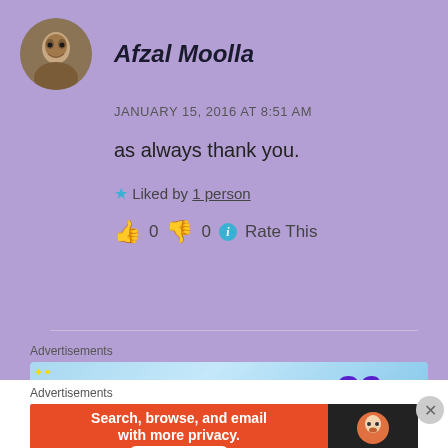[Figure (photo): Circular avatar photo of Afzal Moolla]
Afzal Moolla
JANUARY 15, 2016 AT  8:51 AM
as always thank you.
★ Liked by 1 person
👍 0 👎 0 ℹ Rate This
Advertisements
[Figure (screenshot): Tumblr ad-free browsing advertisement banner showing $39.99 a year or $4.99 a month]
Advertisements
[Figure (screenshot): DuckDuckGo advertisement: Search, browse, and email with more privacy. All in One Free App.]